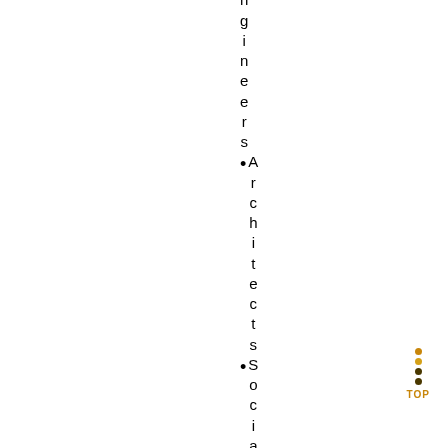engineers Architects
Social Socie